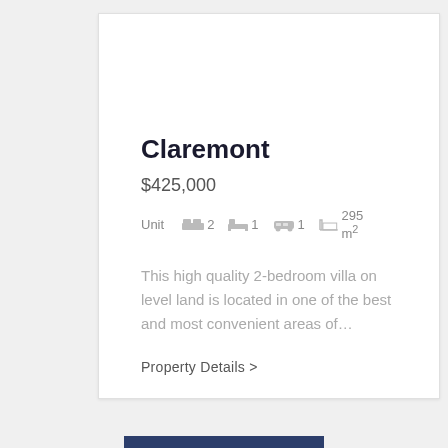Claremont
$425,000
Unit  2  1  1  295 m²
This high quality 2-bedroom villa on level land is located in one of the best and most convenient areas of…
Property Details >